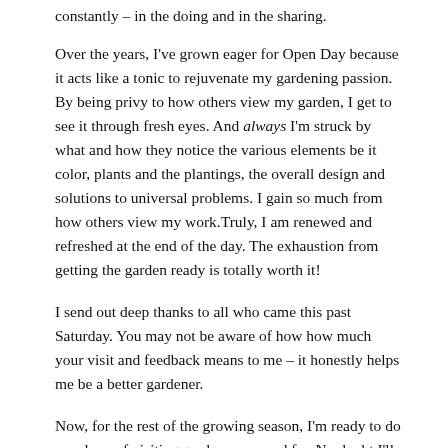constantly – in the doing and in the sharing.
Over the years, I've grown eager for Open Day because it acts like a tonic to rejuvenate my gardening passion. By being privy to how others view my garden, I get to see it through fresh eyes. And always I'm struck by what and how they notice the various elements be it color, plants and the plantings, the overall design and solutions to universal problems. I gain so much from how others view my work.Truly, I am renewed and refreshed at the end of the day. The exhaustion from getting the garden ready is totally worth it!
I send out deep thanks to all who came this past Saturday. You may not be aware of how how much your visit and feedback means to me – it honestly helps me be a better gardener.
Now, for the rest of the growing season, I'm ready to do my share of visiting gardens near and far. No doubt I'll be delighted, inspired and duly instructed. Perfect.